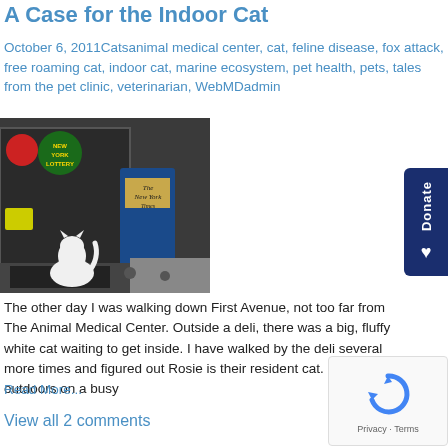A Case for the Indoor Cat
October 6, 2011Catsanimal medical center, cat, feline disease, fox attack, free roaming cat, indoor cat, marine ecosystem, pet health, pets, tales from the pet clinic, veterinarian, WebMDadmin
[Figure (photo): White cat sitting outside a deli near The New York Times newspaper stand, waiting to get inside]
The other day I was walking down First Avenue, not too far from The Animal Medical Center. Outside a deli, there was a big, fluffy white cat waiting to get inside. I have walked by the deli several more times and figured out Rosie is their resident cat. Seeing a cat outdoors on a busy
Read More...
View all 2 comments